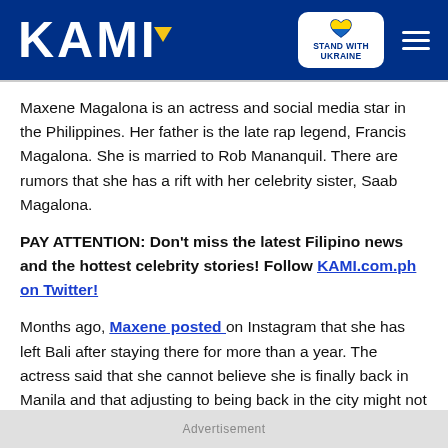KAMI — Stand With Ukraine
Maxene Magalona is an actress and social media star in the Philippines. Her father is the late rap legend, Francis Magalona. She is married to Rob Mananquil. There are rumors that she has a rift with her celebrity sister, Saab Magalona.
PAY ATTENTION: Don't miss the latest Filipino news and the hottest celebrity stories! Follow KAMI.com.ph on Twitter!
Months ago, Maxene posted on Instagram that she has left Bali after staying there for more than a year. The actress said that she cannot believe she is finally back in Manila and that adjusting to being back in the city might not be so easy.
Advertisement